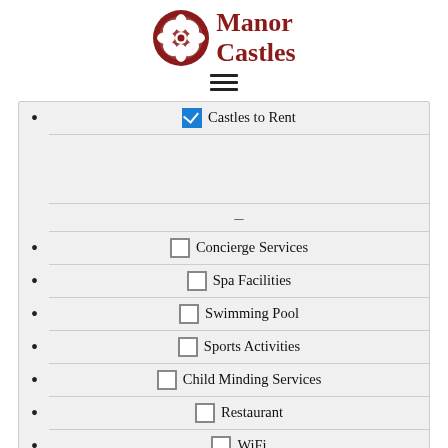[Figure (logo): Manor Castles logo: red circle with white flower/snowflake icon, red serif text 'Manor Castles']
☑ Castles to Rent
☐ Concierge Services
☐ Spa Facilities
☐ Swimming Pool
☐ Sports Activities
☐ Child Minding Services
☐ Restaurant
☐ WiFi